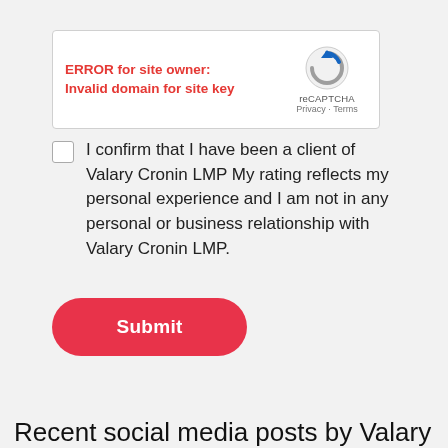[Figure (screenshot): reCAPTCHA widget showing error message 'ERROR for site owner: Invalid domain for site key' with reCAPTCHA logo and Privacy/Terms links]
I confirm that I have been a client of Valary Cronin LMP My rating reflects my personal experience and I am not in any personal or business relationship with Valary Cronin LMP.
Submit
Recent social media posts by Valary